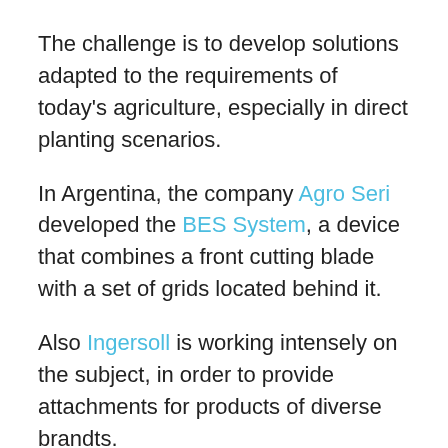The challenge is to develop solutions adapted to the requirements of today's agriculture, especially in direct planting scenarios.
In Argentina, the company Agro Seri developed the BES System, a device that combines a front cutting blade with a set of grids located behind it.
Also Ingersoll is working intensely on the subject, in order to provide attachments for products of diverse brandts.
The list of mechanical control options includes chained discs, soil conditioner arms, weed wings, etc.
Companies like Fragar and Grass-Cutter successfully presented mechanical weed